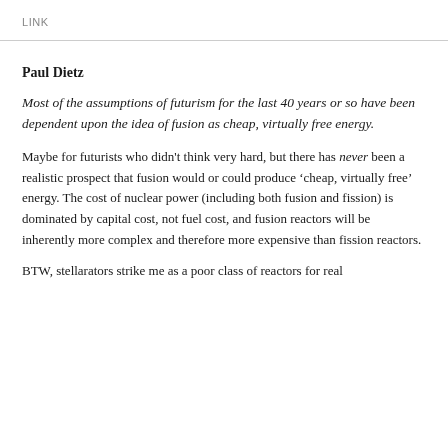LINK
Paul Dietz
Most of the assumptions of futurism for the last 40 years or so have been dependent upon the idea of fusion as cheap, virtually free energy.
Maybe for futurists who didn't think very hard, but there has never been a realistic prospect that fusion would or could produce ‘cheap, virtually free’ energy. The cost of nuclear power (including both fusion and fission) is dominated by capital cost, not fuel cost, and fusion reactors will be inherently more complex and therefore more expensive than fission reactors.
BTW, stellarators strike me as a poor class of reactors for real